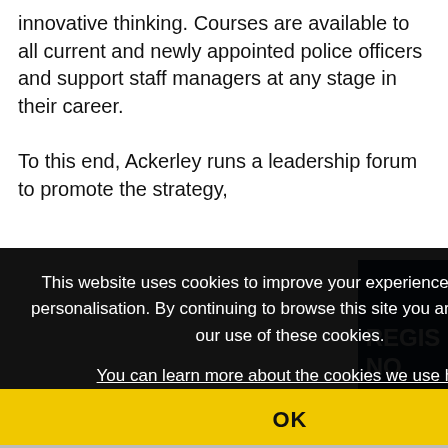innovative thinking. Courses are available to all current and newly appointed police officers and support staff managers at any stage in their career.

To this end, Ackerley runs a leadership forum to promote the strategy,
senior
n's
[Figure (screenshot): Cookie consent overlay on a website. Black semi-transparent box with white text reading 'This website uses cookies to improve your experience and for ads personalisation. By continuing to browse this site you are agreeing to our use of these cookies. You can learn more about the cookies we use here.' with an underlined link. Below is a yellow OK button bar.]
REGIS
NO